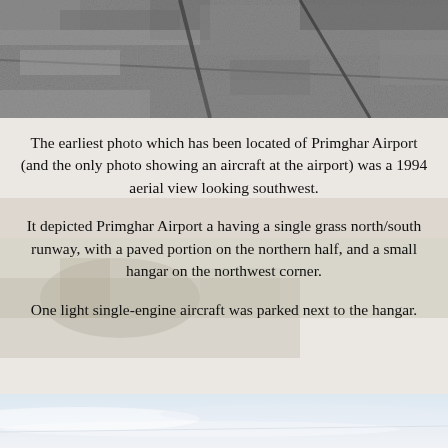[Figure (photo): Grayscale aerial photograph of Primghar Airport area, 1994, looking southwest. Shows textured terrain with runway-like dark lines.]
The earliest photo which has been located of Primghar Airport (and the only photo showing an aircraft at the airport) was a 1994 aerial view looking southwest.
It depicted Primghar Airport a having a single grass north/south runway, with a paved portion on the northern half, and a small hangar on the northwest corner.
One light single-engine aircraft was parked next to the hangar.
[Figure (photo): Faded background photograph of airport scene visible behind the text area, showing a small plane near a hangar.]
[Figure (photo): Partial photograph at bottom of page showing a pale sky scene, light blue and white tones.]